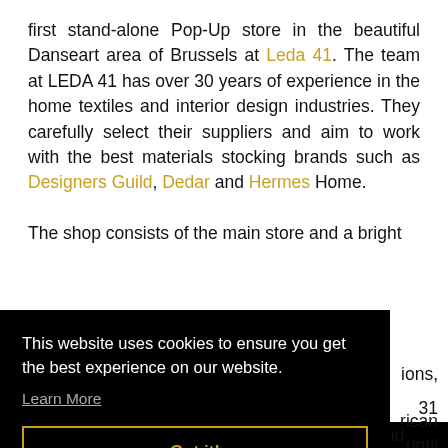first stand-alone Pop-Up store in the beautiful Danseart area of Brussels at Leda 41. The team at LEDA 41 has over 30 years of experience in the home textiles and interior design industries. They carefully select their suppliers and aim to work with the best materials stocking brands such as Designers Guild, Dedar and Hermes Home.
The shop consists of the main store and a bright
This website uses cookies to ensure you get the best experience on our website. Learn More Got it!
the end of December, so say Yes! and come and